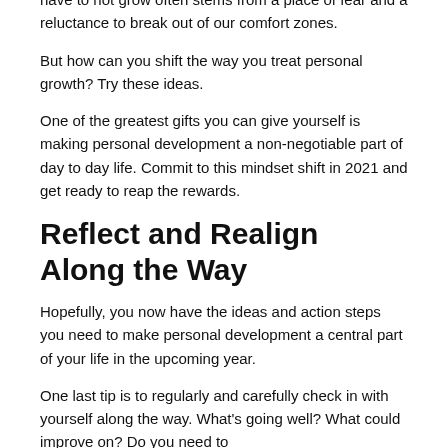have to not grow often stems from a place of fear and a reluctance to break out of our comfort zones.
But how can you shift the way you treat personal growth? Try these ideas.
One of the greatest gifts you can give yourself is making personal development a non-negotiable part of day to day life. Commit to this mindset shift in 2021 and get ready to reap the rewards.
Reflect and Realign Along the Way
Hopefully, you now have the ideas and action steps you need to make personal development a central part of your life in the upcoming year.
One last tip is to regularly and carefully check in with yourself along the way. What's going well? What could improve on? Do you need to